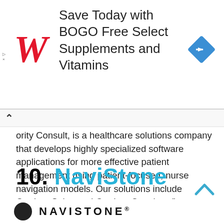[Figure (other): Walgreens advertisement banner: 'Save Today with BOGO Free Select Supplements and Vitamins' with Walgreens cursive W logo and blue diamond navigation icon]
ority Consult, is a healthcare solutions company that develops highly specialized software applications for more effective patient management using patient-focused, nurse navigation models. Our solutions include Cordata Spine and Cordata Oncology.”
10. NaviStone
[Figure (logo): NaviStone logo — dark circle with NAVISTONE® wordmark in large spaced caps]